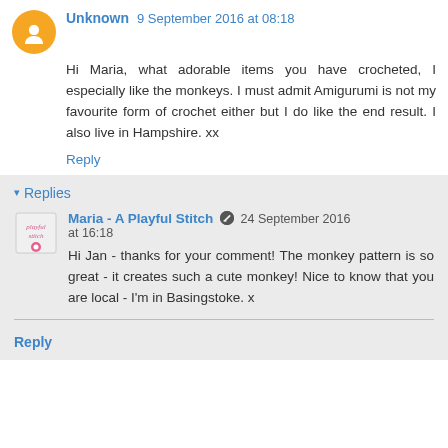Unknown  9 September 2016 at 08:18
Hi Maria, what adorable items you have crocheted, I especially like the monkeys. I must admit Amigurumi is not my favourite form of crochet either but I do like the end result. I also live in Hampshire. xx
Reply
Replies
Maria - A Playful Stitch  24 September 2016 at 16:18
Hi Jan - thanks for your comment! The monkey pattern is so great - it creates such a cute monkey! Nice to know that you are local - I'm in Basingstoke. x
Reply